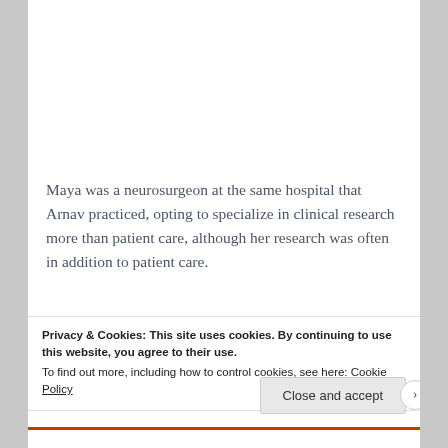Maya was a neurosurgeon at the same hospital that Arnav practiced, opting to specialize in clinical research more than patient care, although her research was often in addition to patient care.
What this meant was that Maya was often
Privacy & Cookies: This site uses cookies. By continuing to use this website, you agree to their use.
To find out more, including how to control cookies, see here: Cookie Policy